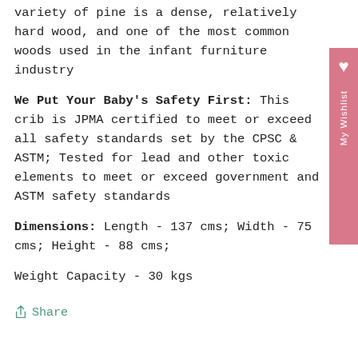variety of pine is a dense, relatively hard wood, and one of the most common woods used in the infant furniture industry
We Put Your Baby's Safety First: This crib is JPMA certified to meet or exceed all safety standards set by the CPSC & ASTM; Tested for lead and other toxic elements to meet or exceed government and ASTM safety standards
Dimensions: Length - 137 cms; Width - 75 cms; Height - 88 cms;
Weight Capacity - 30 kgs
Share